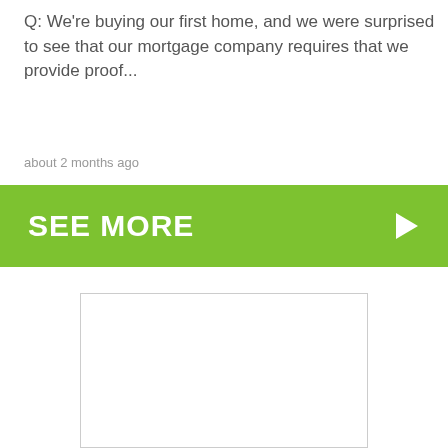Q: We're buying our first home, and we were surprised to see that our mortgage company requires that we provide proof...
about 2 months ago
[Figure (other): Green 'SEE MORE' button with white bold text and a right-pointing triangle arrow on the right side]
[Figure (other): Empty white advertisement box with a thin light gray border]